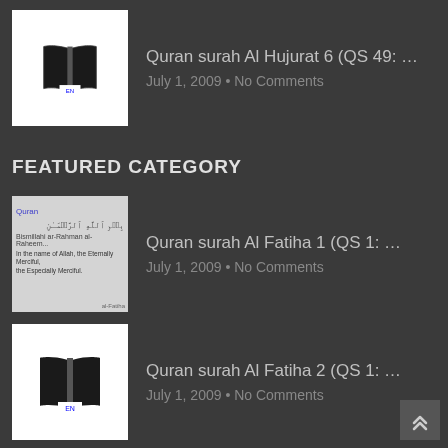[Figure (illustration): Thumbnail image of an open Quran book icon on white background]
Quran surah Al Hujurat 6 (QS 49: …
July 1, 2009 • No Comments
FEATURED CATEGORY
[Figure (illustration): Thumbnail image showing Arabic text from Al Fatiha surah]
Quran surah Al Fatiha 1 (QS 1: …
July 1, 2009 • No Comments
[Figure (illustration): Thumbnail image of an open Quran book icon on white background]
Quran surah Al Fatiha 2 (QS 1: …
July 1, 2009 • No Comments
[Figure (illustration): Thumbnail image of an open Quran book icon on white background]
Quran surah Al Fatiha 3 (QS 1: …
July 1, 2009 • No Comments
[Figure (illustration): Thumbnail image of an open Quran book icon on white background]
Quran surah Al Fatiha 4 (QS 1: …
July 1, 2009 • No Comments